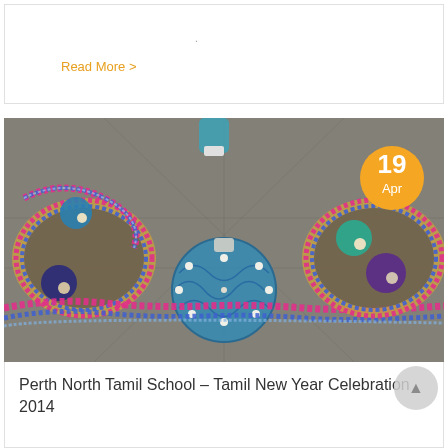Read More >
[Figure (photo): Decorative Indian rangoli craft with colorful beaded patterns, flower decorations, and a blue ornamental sphere with pearl studs. A date badge showing '19 Apr' appears in the top-right corner.]
Perth North Tamil School – Tamil New Year Celebration 2014